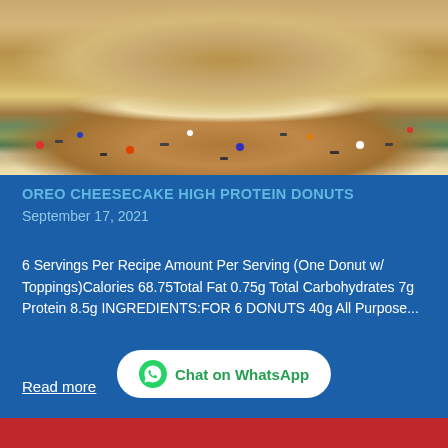[Figure (photo): Close-up photo of an Oreo cheesecake high protein donut on a colorful background with sprinkles and cookie crumbles]
OREO CHEESECAKE HIGH PROTEIN DONUTS
September 17, 2021
6 Servings Per Recipe Amount Per Serving (One Donut w/ Toppings)Calories 68.75Total Fat 0.75g Total Carbohydrates 7g Protein 8.5g INGREDIENTS:FOR 6 DONUTS 40g All Purpose...
Read more
[Figure (other): WhatsApp Chat button with green WhatsApp logo]